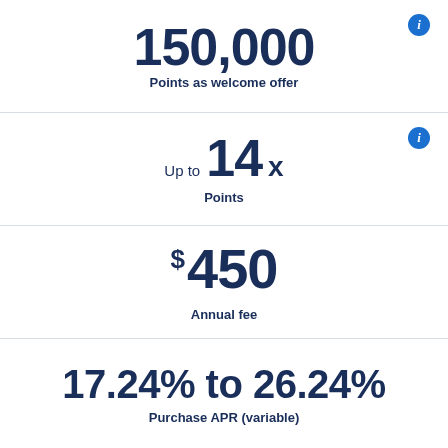150,000
Points as welcome offer
Up to 14x
Points
$450
Annual fee
17.24% to 26.24%
Purchase APR (variable)